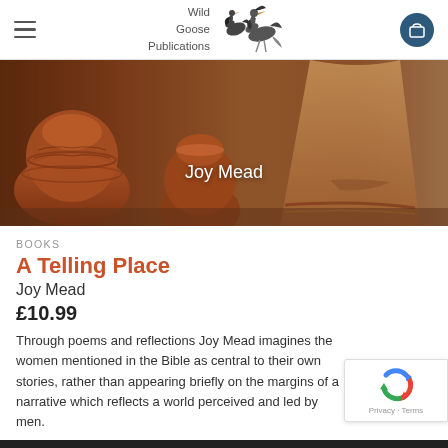Wild Goose Publications
[Figure (photo): Hero banner image showing earthenware clay pots with decorative patterns in warm terracotta tones, with 'Joy Mead' text overlay]
BOOKS
A Telling Place
Joy Mead
£10.99
Through poems and reflections Joy Mead imagines the women mentioned in the Bible as central to their own stories, rather than appearing briefly on the margins of a narrative which reflects a world perceived and led by men.